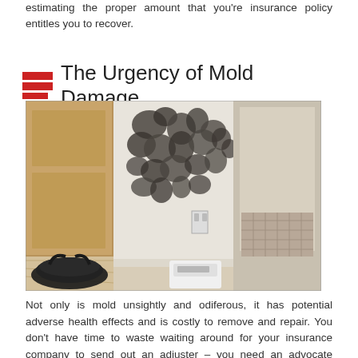estimating the proper amount that you're insurance policy entitles you to recover.
The Urgency of Mold Damage
[Figure (photo): Interior hallway corner showing extensive black mold growth on white walls, with wooden floor, a dark bag on the floor, a bathroom scale near the baseboard, and a doorway visible in the background.]
Not only is mold unsightly and odiferous, it has potential adverse health effects and is costly to remove and repair. You don't have time to waste waiting around for your insurance company to send out an adjuster – you need an advocate skilled in both obtaining the compensation you're entitled to under your property insurance policy and in stopping the mold